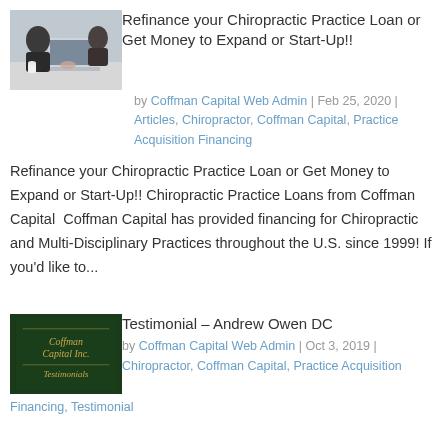[Figure (photo): Business people at a laptop — thumbnail for chiropractic loan article]
Refinance your Chiropractic Practice Loan or Get Money to Expand or Start-Up!!
by Coffman Capital Web Admin | Feb 25, 2020 | Articles, Chiropractor, Coffman Capital, Practice Acquisition Financing
Refinance your Chiropractic Practice Loan or Get Money to Expand or Start-Up!! Chiropractic Practice Loans from Coffman Capital  Coffman Capital has provided financing for Chiropractic and Multi-Disciplinary Practices throughout the U.S. since 1999! If you'd like to...
[Figure (logo): Coffman Capital Inc. Testimonials logo on dark green background]
Testimonial – Andrew Owen DC
by Coffman Capital Web Admin | Oct 3, 2019 | Chiropractor, Coffman Capital, Practice Acquisition Financing, Testimonial